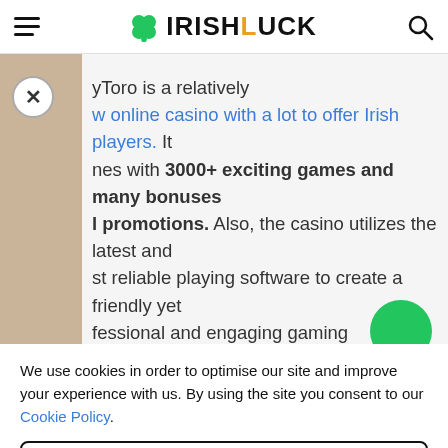IRISHLUCK
[Figure (screenshot): Partially visible article text about PlayToro casino with a tan/beige sidebar and a close (X) button overlay. Text reads: 'yToro is a relatively [new] online casino with a lot to offer Irish players. It [com]es with 3000+ exciting games and many bonuses [and] promotions. Also, the casino utilizes the latest and [mo]st reliable playing software to create a friendly yet [pro]fessional and engaging gaming environment for its']
We use cookies in order to optimise our site and improve your experience with us. By using the site you consent to our Cookie Policy.
Cookie Settings
Accept All Cookies